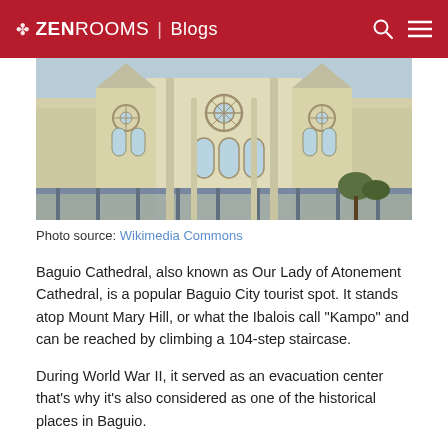ZEN ROOMS | Blogs
[Figure (photo): Photograph of Baguio Cathedral (Our Lady of Atonement Cathedral), a large white and cream Gothic-style church with rose windows and tall towers]
Photo source: Wikimedia Commons
Baguio Cathedral, also known as Our Lady of Atonement Cathedral, is a popular Baguio City tourist spot. It stands atop Mount Mary Hill, or what the Ibalois call “Kampo” and can be reached by climbing a 104-step staircase.
During World War II, it served as an evacuation center that's why it's also considered as one of the historical places in Baguio.